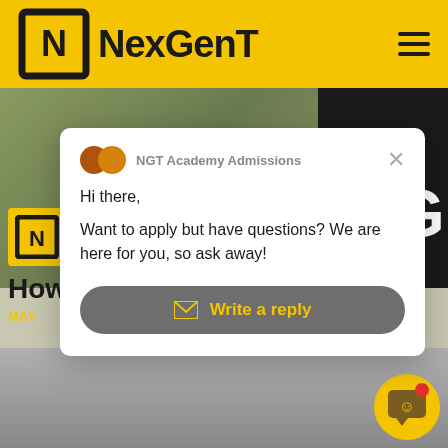NexGenT
[Figure (screenshot): NexGenT website screenshot showing a chat popup modal with NGT Academy Admissions asking 'Hi there, Want to apply but have questions? We are here for you, so ask away!' with a 'Write a reply' button]
NGT Academy Admissions
Hi there,
Want to apply but have questions? We are here for you, so ask away!
Write a reply
How
MAY